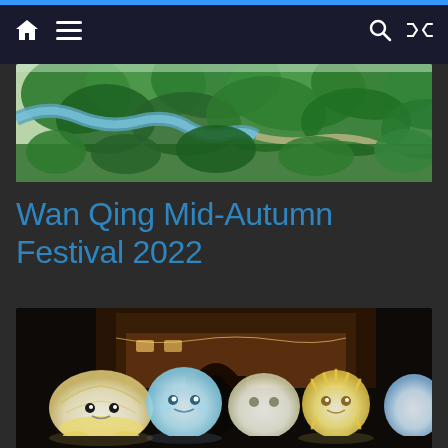Navigation bar with home, menu, search, and shuffle icons
[Figure (photo): Aerial view of a park with greenery, trees, and a winding pathway or waterway]
Wan Qing Mid-Autumn Festival 2022
[Figure (photo): Night scene of the Wan Qing Mid-Autumn Festival 2022 showing illuminated lantern characters in front of a heritage building]